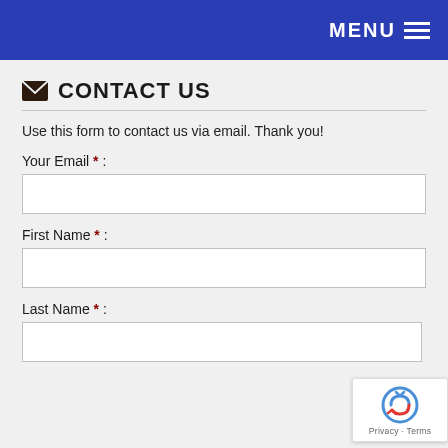MENU ≡
✉ CONTACT US
Use this form to contact us via email. Thank you!
Your Email * :
First Name * :
Last Name * :